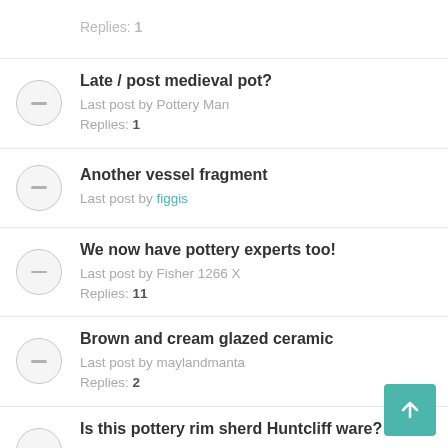Replies: 1
Late / post medieval pot?
Last post by Pottery Man
Replies: 1
Another vessel fragment
Last post by figgis
We now have pottery experts too!
Last post by Fisher 1266 X
Replies: 11
Brown and cream glazed ceramic
Last post by maylandmanta
Replies: 2
Is this pottery rim sherd Huntcliff ware?
Last post by Bes99
Replies: 8